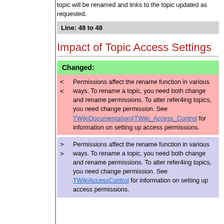topic will be renamed and links to the topic updated as requested.
Line: 48 to 48
Impact of Topic Access Settings
Changed:
< Permissions affect the rename function in various
< ways. To rename a topic, you need both change and rename permissions. To alter refer4ing topics, you need change permission. See TWikiDocumentation#TWiki_Access_Control for information on setting up access permissions.
> Permissions affect the rename function in various
> ways. To rename a topic, you need both change and rename permissions. To alter refer4ing topics, you need change permission. See TWikiAccessControl for information on setting up access permissions.